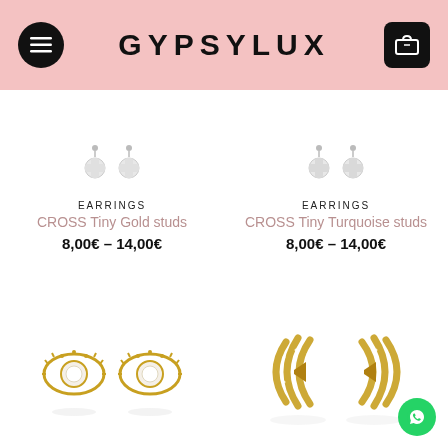GYPSYLUX
[Figure (photo): Two small gold cross tiny stud earrings shown from above on white background]
EARRINGS
CROSS Tiny Gold studs
8,00€ – 14,00€
[Figure (photo): Two small gold/turquoise cross tiny stud earrings shown from above on white background]
EARRINGS
CROSS Tiny Turquoise studs
8,00€ – 14,00€
[Figure (photo): Two gold evil eye pearl stud earrings with pearl centers on white background]
[Figure (photo): Two gold multi-hoop ear cuff earrings with crystal pave on white background]